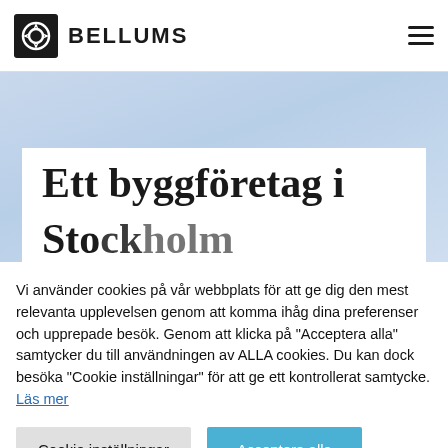BELLUMS
[Figure (illustration): Blue gradient hero background area with partial white card overlay showing large serif text 'Ett byggföretag i Sto...' (a construction company in Stockholm)]
Ett byggföretag i Stockholm
Vi använder cookies på vår webbplats för att ge dig den mest relevanta upplevelsen genom att komma ihåg dina preferenser och upprepade besök. Genom att klicka på "Acceptera alla" samtycker du till användningen av ALLA cookies. Du kan dock besöka "Cookie inställningar" för att ge ett kontrollerat samtycke. Läs mer
Cookie inställningar | Acceptera alla